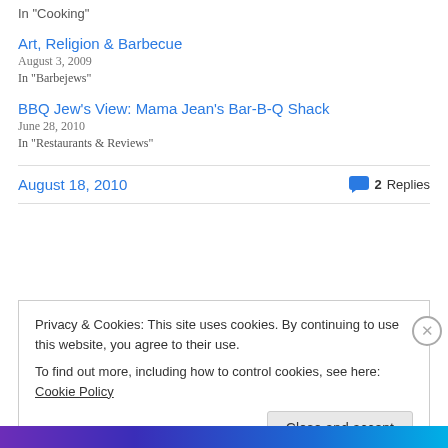In "Cooking"
Art, Religion & Barbecue
August 3, 2009
In "Barbejews"
BBQ Jew's View: Mama Jean's Bar-B-Q Shack
June 28, 2010
In "Restaurants & Reviews"
August 18, 2010   2 Replies
Privacy & Cookies: This site uses cookies. By continuing to use this website, you agree to their use.
To find out more, including how to control cookies, see here: Cookie Policy